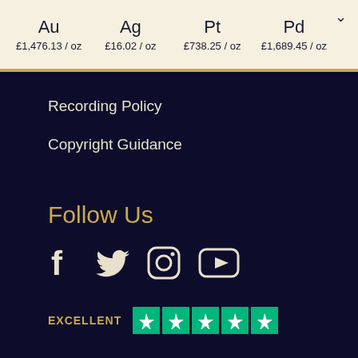Au £1,476.13 / oz | Ag £16.02 / oz | Pt £738.25 / oz | Pd £1,689.45 / oz
Recording Policy
Copyright Guidance
Follow Us
[Figure (infographic): Social media icons: Facebook, Twitter, Instagram, YouTube]
[Figure (infographic): Trustpilot EXCELLENT rating with 5 green star badges]